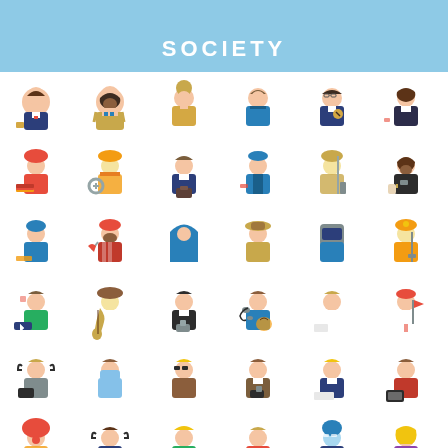SOCIETY
[Figure (illustration): A grid of colorful flat-design avatar icons representing various professions and roles in society, including businesspeople, construction workers, teachers, doctors, musicians, chefs, welders, and more, arranged in rows of 6 across multiple rows.]